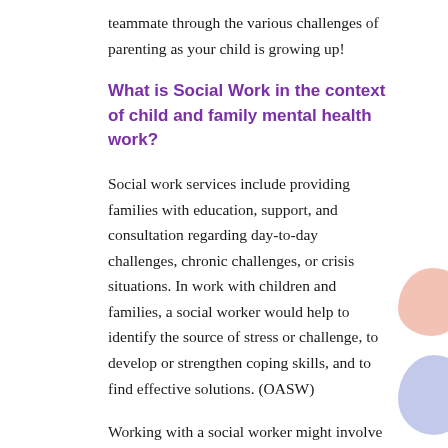teammate through the various challenges of parenting as your child is growing up!
What is Social Work in the context of child and family mental health work?
Social work services include providing families with education, support, and consultation regarding day-to-day challenges, chronic challenges, or crisis situations. In work with children and families, a social worker would help to identify the source of stress or challenge, to develop or strengthen coping skills, and to find effective solutions. (OASW)
Working with a social worker might involve exploration of individual emotional trauma, relationship challenges, and other child or family skill development and counselling. It may also involve advocating with you for supports and/or